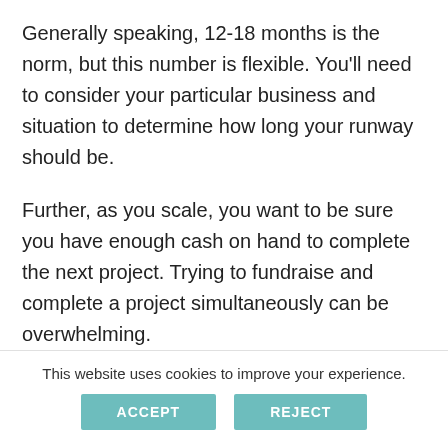Generally speaking, 12-18 months is the norm, but this number is flexible. You'll need to consider your particular business and situation to determine how long your runway should be.
Further, as you scale, you want to be sure you have enough cash on hand to complete the next project. Trying to fundraise and complete a project simultaneously can be overwhelming.
A s b e t y o u m i g h t b e d e t e r m i n e t o...
This website uses cookies to improve your experience.